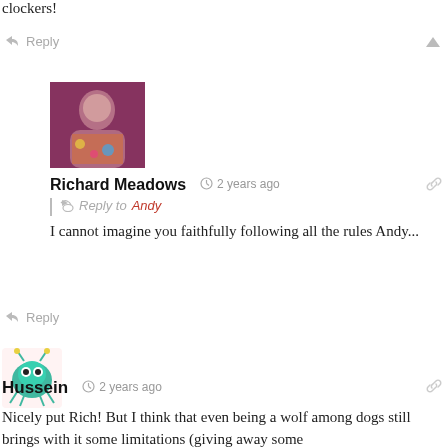clockers!
↳ Reply
[Figure (photo): User avatar for Richard Meadows - a man with beard and colorful background]
Richard Meadows  🕐 2 years ago
Reply to Andy
I cannot imagine you faithfully following all the rules Andy...
↳ Reply
[Figure (illustration): User avatar for Hussein - a cartoon alien/bug character in teal color]
Hussein  🕐 2 years ago
Nicely put Rich! But I think that even being a wolf among dogs still brings with it some limitations (giving away some